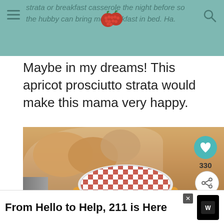strata or breakfast casserole the night before so the hubby can bring me breakfast in bed. Ha.
Maybe in my dreams! This apricot prosciutto strata would make this mama very happy.
[Figure (photo): Close-up food photo showing a jar of apricot jam with a red and white checkered lid in the foreground, and a casserole dish with bread in the background. Overlay icons: heart button, share count (330), share button, and a 'What's Next' panel showing 'Prosciutto, Gorgonzola...']
From Hello to Help, 211 is Here